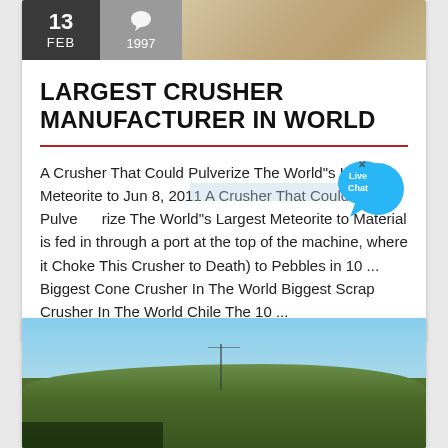[Figure (photo): Top banner area with date box showing '13 FEB', comment/year box showing '1997', and a sandy/gravel textured photo]
LARGEST CRUSHER MANUFACTURER IN WORLD
A Crusher That Could Pulverize The World"s Largest Meteorite to Jun 8, 2011 A Crusher That Could Pulverize The World"s Largest Meteorite to Material is fed in through a port at the top of the machine, where it Choke This Crusher to Death) to Pebbles in 10 ... Biggest Cone Crusher In The World Biggest Scrap Crusher In The World Chile The 10 ...
[Figure (photo): Outdoor landscape photo showing a forested hill/mountain with blue sky and some industrial equipment or structures at the bottom left]